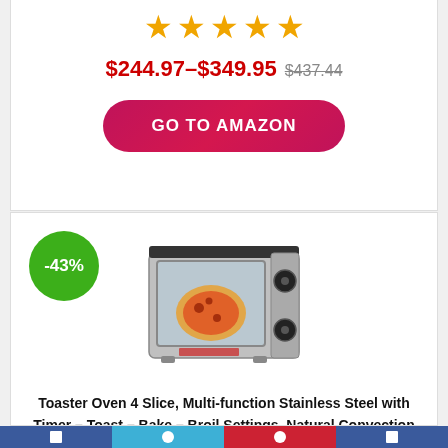★★★★★
$244.97–$349.95 $437.44
GO TO AMAZON
[Figure (photo): Toaster oven product photo with -43% discount badge in green circle]
Toaster Oven 4 Slice, Multi-function Stainless Steel with Timer – Toast – Bake – Broil Settings, Natural Convection – 1100 Watts of Power, Includes Baking Pan and Rack by Mueller Austria